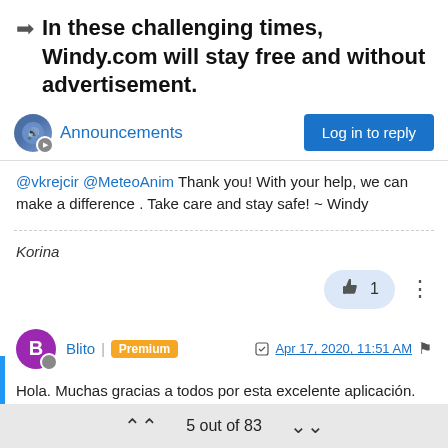In these challenging times, Windy.com will stay free and without advertisement.
Announcements
Log in to reply
@vkrejcir @MeteoAnim Thank you! With your help, we can make a difference . Take care and stay safe! ~ Windy
Korina
1
Blito | Premium   Apr 17, 2020, 11:51 AM
Hola. Muchas gracias a todos por esta excelente aplicación. Yo me he suscrito a Premium hace unos días, pero no se me ha cobrado la cantidad que tengo que pagar, ni puedo ver el pronóstico de 1 hora. Me imagino que es por los errores de terceros. Estoy a la
5 out of 83